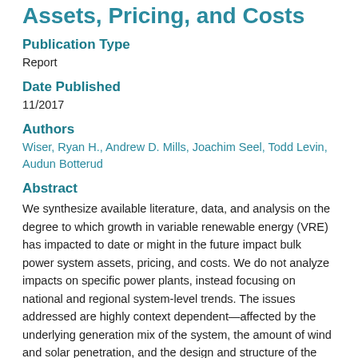Assets, Pricing, and Costs
Publication Type
Report
Date Published
11/2017
Authors
Wiser, Ryan H., Andrew D. Mills, Joachim Seel, Todd Levin, Audun Botterud
Abstract
We synthesize available literature, data, and analysis on the degree to which growth in variable renewable energy (VRE) has impacted to date or might in the future impact bulk power system assets, pricing, and costs. We do not analyze impacts on specific power plants, instead focusing on national and regional system-level trends. The issues addressed are highly context dependent—affected by the underlying generation mix of the system, the amount of wind and solar penetration, and the design and structure of the bulk power system in each region. Moreover,